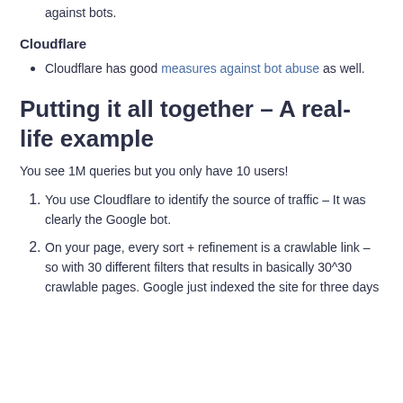against bots.
Cloudflare
Cloudflare has good measures against bot abuse as well.
Putting it all together – A real-life example
You see 1M queries but you only have 10 users!
You use Cloudflare to identify the source of traffic – It was clearly the Google bot.
On your page, every sort + refinement is a crawlable link – so with 30 different filters that results in basically 30^30 crawlable pages. Google just indexed the site for three days